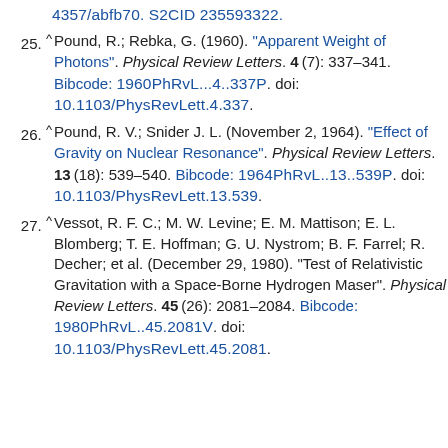4357/abfb70. S2CID 235593322.
25. ^ Pound, R.; Rebka, G. (1960). "Apparent Weight of Photons". Physical Review Letters. 4(7): 337–341. Bibcode: 1960PhRvL...4..337P. doi: 10.1103/PhysRevLett.4.337.
26. ^ Pound, R. V.; Snider J. L. (November 2, 1964). "Effect of Gravity on Nuclear Resonance". Physical Review Letters. 13 (18): 539–540. Bibcode: 1964PhRvL..13..539P. doi: 10.1103/PhysRevLett.13.539.
27. ^ Vessot, R. F. C.; M. W. Levine; E. M. Mattison; E. L. Blomberg; T. E. Hoffman; G. U. Nystrom; B. F. Farrel; R. Decher; et al. (December 29, 1980). "Test of Relativistic Gravitation with a Space-Borne Hydrogen Maser". Physical Review Letters. 45 (26): 2081–2084. Bibcode: 1980PhRvL..45.2081V. doi: 10.1103/PhysRevLett.45.2081.